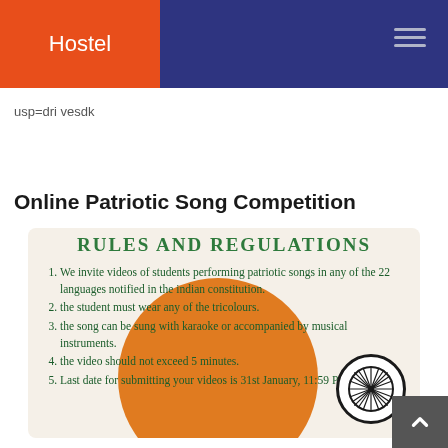Hostel
usp=dri vesdk
Online Patriotic Song Competition
[Figure (infographic): Rules and Regulations card with cream background, orange decorative circle, Ashoka chakra, and numbered list of 5 rules for an Online Patriotic Song Competition. Rules: 1. We invite videos of students performing patriotic songs in any of the 22 languages notified in the indian constitution. 2. the student must wear any of the tricolours. 3. the song can be sung with karaoke or accompanied by musical instruments. 4. the video should not exceed 5 minutes. 5. Last date for submitting your videos is 31st January, 11:59 P.M.]